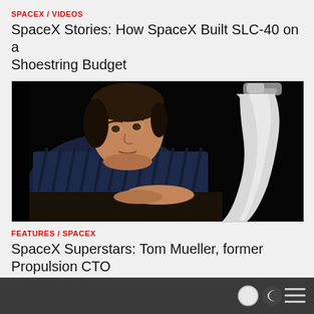SPACEX / VIDEOS
SpaceX Stories: How SpaceX Built SLC-40 on a Shoestring Budget
[Figure (photo): A man in a dark striped shirt leans over a surface, examining a white rocket engine nozzle on a dark background.]
FEATURES / SPACEX
SpaceX Superstars: Tom Mueller, former Propulsion CTO
footer bar with light/dark mode toggle and menu icon